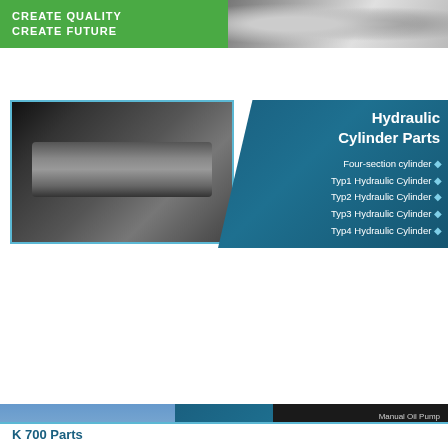[Figure (infographic): Top green banner with 'CREATE QUALITY CREATE FUTURE' text and machinery photo]
[Figure (infographic): Hydraulic cylinder photo with teal border, next to dark blue panel listing Hydraulic Cylinder Parts]
Hydraulic Cylinder Parts
Four-section cylinder
Typ1 Hydraulic Cylinder
Typ2 Hydraulic Cylinder
Typ3 Hydraulic Cylinder
Typ4 Hydraulic Cylinder
[Figure (infographic): Red tractor photo on left, dark blue Tractor Parts panel in center, tractor component parts photo on right]
Tractor Parts
R & D team
High quality
Certificates
OEM/ODM
[Figure (infographic): Tractor parts: Manual Oil Pump, Steering Gear, Motor, Water Tank on black background]
[Figure (infographic): Harvester machine photo with teal border, next to dark blue Harvester Part panel with product list]
Harvester Part
Holder
Typ1 Belt Pulley
Typ2 Belt Pulley
Typ3 Belt Pulley
Typ1 Reducer
Typ2 Reducer
K 700 Parts